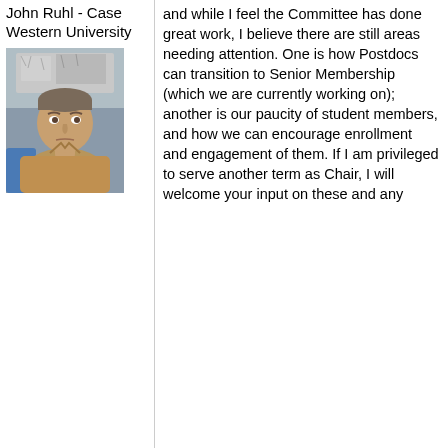John Ruhl - Case Western University
[Figure (photo): Headshot of a man in a tan polo shirt, standing in front of laboratory equipment wrapped in foil, looking at the camera.]
and while I feel the Committee has done great work, I believe there are still areas needing attention. One is how Postdocs can transition to Senior Membership (which we are currently working on); another is our paucity of student members, and how we can encourage enrollment and engagement of them. If I am privileged to serve another term as Chair, I will welcome your input on these and any